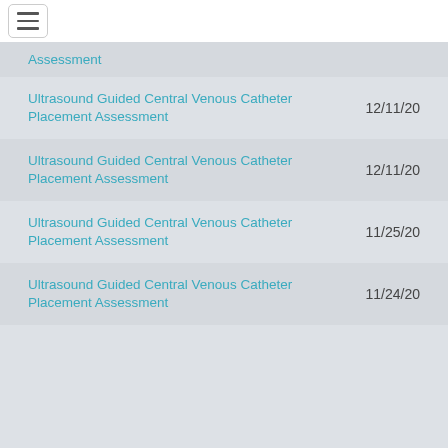Assessment
Ultrasound Guided Central Venous Catheter Placement Assessment  12/11/20
Ultrasound Guided Central Venous Catheter Placement Assessment  12/11/20
Ultrasound Guided Central Venous Catheter Placement Assessment  11/25/20
Ultrasound Guided Central Venous Catheter Placement Assessment  11/24/20